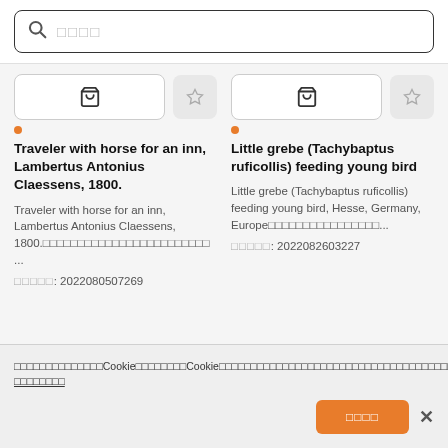[Figure (screenshot): Search bar with magnifying glass icon and placeholder text in Japanese/CJK characters]
[Figure (screenshot): Two product cards each with a cart button and star/favorite button, orange dot indicator, title, description, and ID]
Traveler with horse for an inn, Lambertus Antonius Claessens, 1800.
Traveler with horse for an inn, Lambertus Antonius Claessens, 1800.□□□□□□□□□□□□□□□□□□□□□□□□ ...
□□□□□: 2022080507269
Little grebe (Tachybaptus ruficollis) feeding young bird
Little grebe (Tachybaptus ruficollis) feeding young bird, Hesse, Germany, Europe□□□□□□□□□□□□□□□□...
□□□□□: 2022082603227
□□□□□□□□□□□□□□Cookie□□□□□□□□Cookie□□□□□□□□□□□□□□□□□□□□□□□□□□□□□□□□□□□□□□□□□□□□□□□□Cookie□□□□□□□□□□□□□□□□□□□□ □□□□□□□□